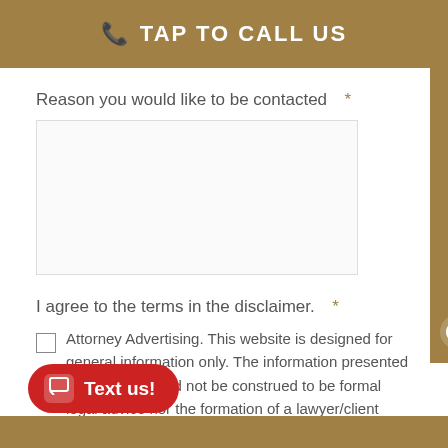TAP TO CALL US
Reason you would like to be contacted *
I agree to the terms in the disclaimer. *
Attorney Advertising. This website is designed for general information only. The information presented at this site should not be construed to be formal legal advice nor the formation of a lawyer/client
START CHAT
Text us!